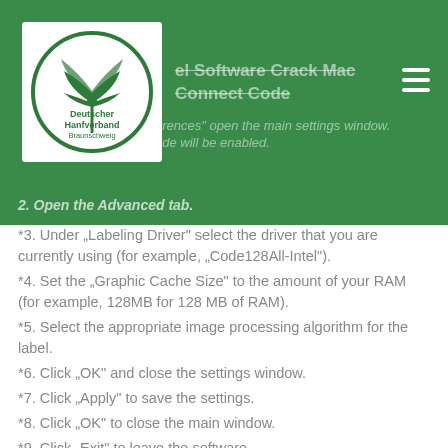[Figure (logo): Deutscher Hanfverband Braunschweig circular logo with green hemp leaf and circle border]
Label Software Crack Mac Connect Code
...erences" open the main settings window.
...ode will be enabled.
2. Open the Advanced tab.
*3. Under „Labeling Driver" select the driver that you are currently using (for example, „Code128All-Intel").
*4. Set the „Graphic Cache Size" to the amount of your RAM (for example, 128MB for 128 MB of RAM).
*5. Select the appropriate image processing algorithm for the label.
*6. Click „OK" and close the settings window.
*7. Click „Apply" to save the settings.
*8. Click „OK" to close the main window.
*9. Click „Exit" to leave the software.
*10. ConnectCode Label Software Demo Video: